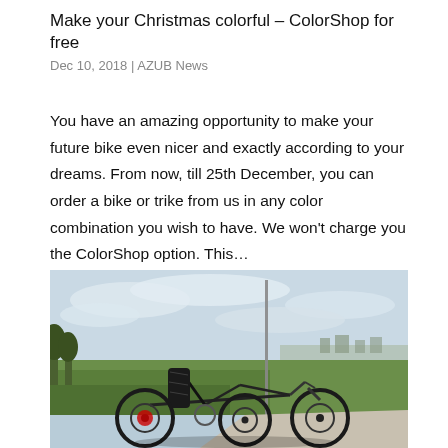Make your Christmas colorful – ColorShop for free
Dec 10, 2018 | AZUB News
You have an amazing opportunity to make your future bike even nicer and exactly according to your dreams. From now, till 25th December, you can order a bike or trike from us in any color combination you wish to have. We won't charge you the ColorShop option. This…
[Figure (photo): A black recumbent trike on a paved path next to green fields, with a town visible in the background under a cloudy sky.]